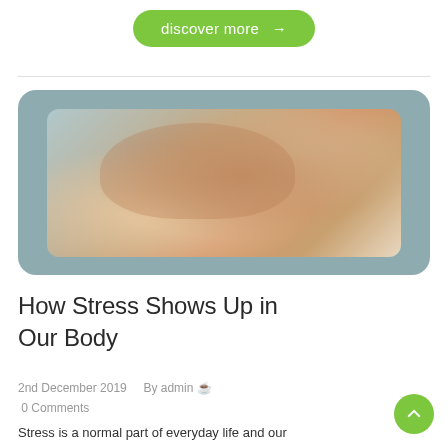discover more →
[Figure (photo): A woman with curly brown hair sitting with her hands clasped together near her face, looking stressed or worried, with a blurred background.]
How Stress Shows Up in Our Body
2nd December 2019    By admin  0 Comments
Stress is a normal part of everyday life and our